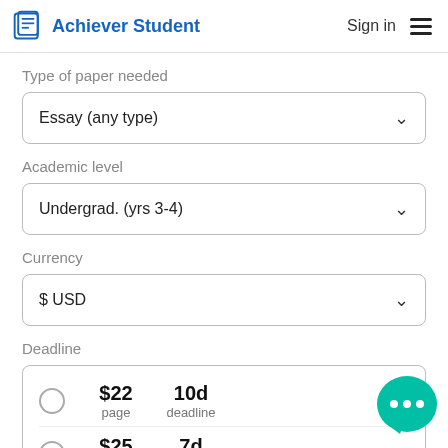Achiever Student | Sign in
Type of paper needed
Essay (any type)
Academic level
Undergrad. (yrs 3-4)
Currency
$ USD
Deadline
|  | Price | Deadline | Date |
| --- | --- | --- | --- |
| ○ | $22 / page | 10d deadline | 3 ... |
| ○ | $25 / page | 7d deadline | 31 Aug |